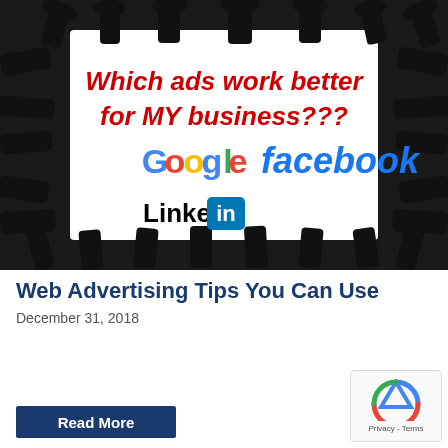[Figure (illustration): Promotional infographic showing silhouettes of many hands reaching from all sides toward the center. Center text reads 'Which ads work better for MY business???' in red italic bold font, with Google, facebook, and LinkedIn logos below.]
Web Advertising Tips You Can Use
December 31, 2018
Read More